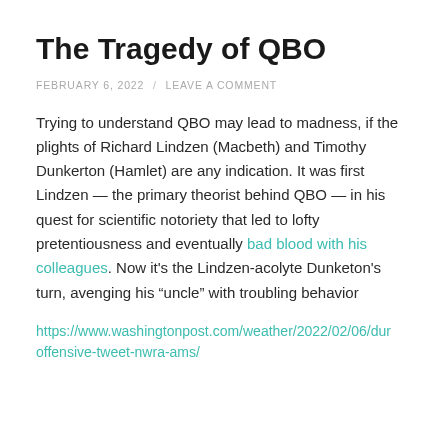The Tragedy of QBO
FEBRUARY 6, 2022 / LEAVE A COMMENT
Trying to understand QBO may lead to madness, if the plights of Richard Lindzen (Macbeth) and Timothy Dunkerton (Hamlet) are any indication. It was first Lindzen — the primary theorist behind QBO — in his quest for scientific notoriety that led to lofty pretentiousness and eventually bad blood with his colleagues. Now it's the Lindzen-acolyte Dunketon's turn, avenging his “uncle” with troubling behavior
https://www.washingtonpost.com/weather/2022/02/06/dunkerton-offensive-tweet-nwra-ams/